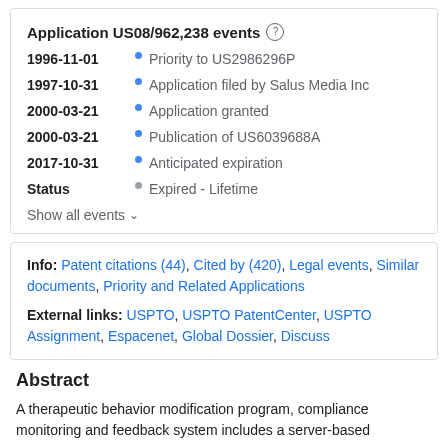Application US08/962,238 events
1996-11-01 • Priority to US2986296P
1997-10-31 • Application filed by Salus Media Inc
2000-03-21 • Application granted
2000-03-21 • Publication of US6039688A
2017-10-31 • Anticipated expiration
Status • Expired - Lifetime
Show all events ∨
Info: Patent citations (44), Cited by (420), Legal events, Similar documents, Priority and Related Applications
External links: USPTO, USPTO PatentCenter, USPTO Assignment, Espacenet, Global Dossier, Discuss
Abstract
A therapeutic behavior modification program, compliance monitoring and feedback system includes a server-based